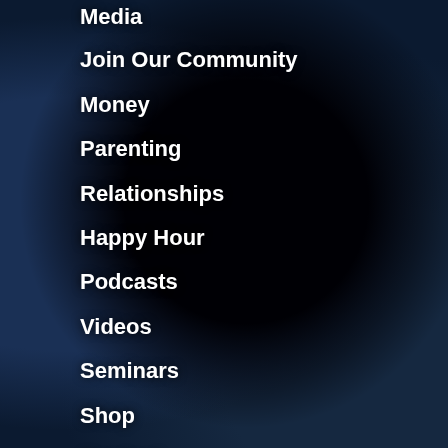Media
Join Our Community
Money
Parenting
Relationships
Happy Hour
Podcasts
Videos
Seminars
Shop
Contact